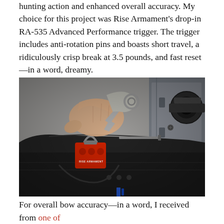hunting action and enhanced overall accuracy. My choice for this project was Rise Armament's drop-in RA-535 Advanced Performance trigger. The trigger includes anti-rotation pins and boasts short travel, a ridiculously crisp break at 3.5 pounds, and fast reset—in a word, dreamy.
[Figure (photo): A hand holding a red Rise Armament RA-535 trigger assembly being installed into a black AR-style lower receiver. The trigger shows the red Rise Armament logo. A scope or optic mount is visible in the background on the right.]
For overall accuracy—in a word, I received from one of